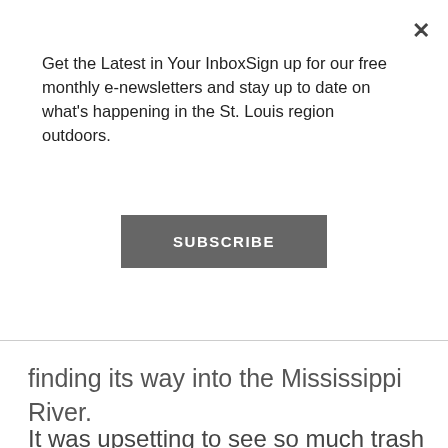Get the Latest in Your InboxSign up for our free monthly e-newsletters and stay up to date on what's happening in the St. Louis region outdoors.
[Figure (other): SUBSCRIBE button — dark gray rectangular button with white uppercase text]
finding its way into the Mississippi River.
It was upsetting to see so much trash in just a half-mile stretch of road. We picked up a least 100 plastic bottles, along with pounds of broken glass. All this debris is unsightly and hazardous to people and animals, whether it is on land or in the water. You've probably seen photos of animals harmed by plastic straws and six-pack rings or birds